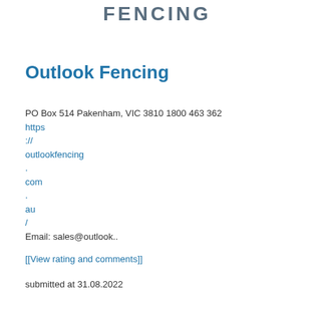[Figure (logo): Fencing logo text in grey/blue bold uppercase letters]
Outlook Fencing
PO Box 514 Pakenham, VIC 3810 1800 463 362
https
://
outlookfencing
.
com
.
au
/
Email: sales@outlook..
[[View rating and comments]]
submitted at 31.08.2022